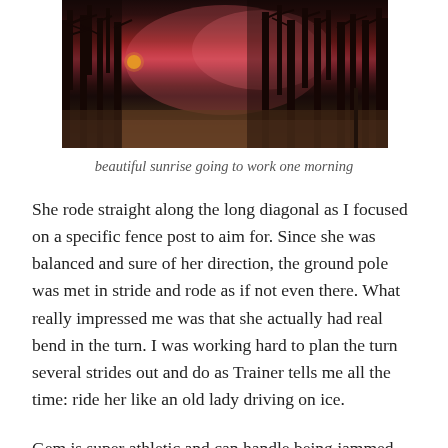[Figure (photo): Sunset/sunrise photo showing a dark silhouette of bare trees against a vivid pink and red sky, with a glowing orb (sun or moon) visible through the trees. The foreground shows a snowy or pale field at dusk/dawn.]
beautiful sunrise going to work one morning
She rode straight along the long diagonal as I focused on a specific fence post to aim for. Since she was balanced and sure of her direction, the ground pole was met in stride and rode as if not even there. What really impressed me was that she actually had real bend in the turn. I was working hard to plan the turn several strides out and do as Trainer tells me all the time: ride her like an old lady driving on ice.
Gem is super athletic and can handle being jammed around tight corners but that doesn't mean it is